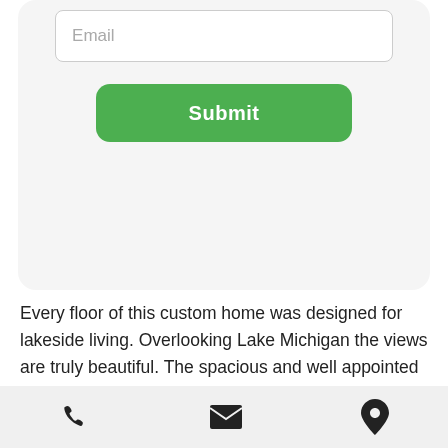[Figure (screenshot): Email input field with placeholder text 'Email' and a green 'Submit' button on a light grey rounded card background]
Every floor of this custom home was designed for lakeside living. Overlooking Lake Michigan the views are truly beautiful. The spacious and well appointed kitchen, dining and living areas, game room, bar and the gas firepit provide opportunites to gather and enjoy time together. The 4 bedrooms are spacious and each has an ensuite bathroom. The primary bedroom has a sitting room as large as most bedrooms. The tram to the shore is literally steps away
[Figure (infographic): Bottom navigation bar with phone, email envelope, and map pin location icons]